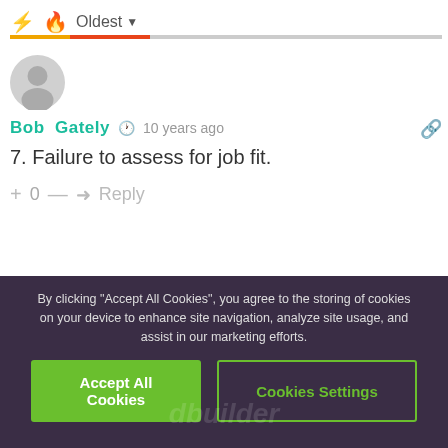Oldest
Bob Gately · 10 years ago
7. Failure to assess for job fit.
+ 0 — Reply
By clicking "Accept All Cookies", you agree to the storing of cookies on your device to enhance site navigation, analyze site usage, and assist in our marketing efforts.
Accept All Cookies
Cookies Settings